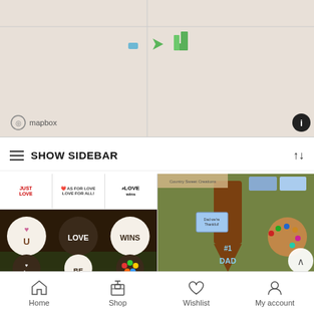[Figure (map): Mapbox map showing a beige/tan map with a vertical divider and horizontal divider. Small blue and green map markers/icons visible. Mapbox logo bottom left, info button bottom right.]
≡  SHOW SIDEBAR  ↑↓
[Figure (photo): Left product: chocolate cookies/oreos with Pride themed messages - JUST LOVE, ALL FOR LOVE LOVE FOR ALL!, #LOVE WINS headers, and decorated cookies showing LOVE U, LOVE, WINS, IS, BE text on dark chocolate background with green grass. Right product: Father's Day gift box with chocolate tie inscribed #1 DAD, decorated cookies, and chocolate treats in green grass.]
Home   Shop   Wishlist   My account